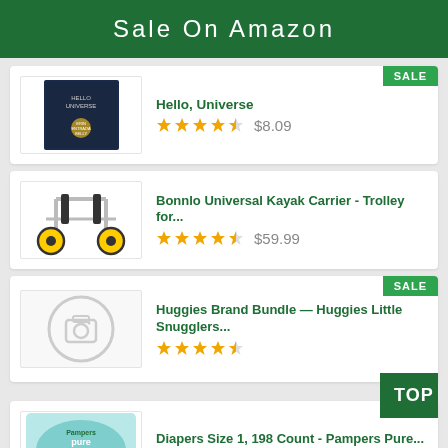Sale On Amazon
[Figure (other): Product card: Hello, Universe book cover with star rating and price $8.09. SALE badge in top right corner.]
[Figure (other): Product card: Bonnlo Universal Kayak Carrier - Trolley for... with star rating and price $59.99]
[Figure (other): Product card: Huggies Brand Bundle - Huggies Little Snugglers... with star rating and no price shown. TOP badge overlapping.]
[Figure (other): Product card: Diapers Size 1, 198 Count - Pampers Pure... with star rating and price $58.48. SALE badge top right.]